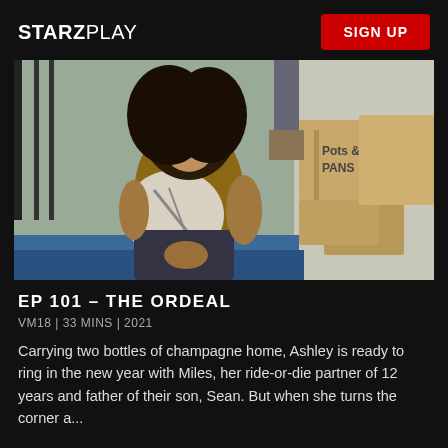STARZPLAY | SIGN UP
[Figure (photo): A woman with long curly hair wearing a mustard tank top and plaid shirt sits on blue steps outside a building, next to stacked cardboard boxes labeled 'POTS & PANS'.]
EP 101 - THE ORDEAL
VM18 | 33 MINS | 2021
Carrying two bottles of champagne home, Ashley is ready to ring in the new year with Miles, her ride-or-die partner of 12 years and father of their son, Sean. But when she turns the corner a...